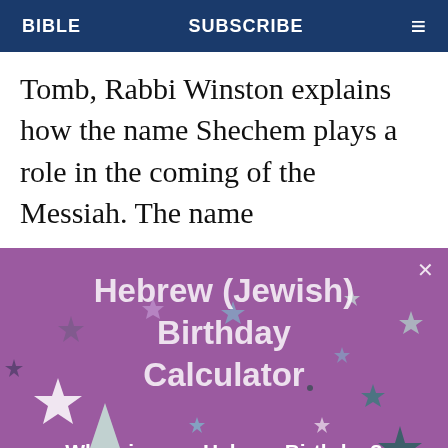BIBLE   SUBSCRIBE   ≡
Tomb, Rabbi Winston explains how the name Shechem plays a role in the coming of the Messiah. The name
[Figure (infographic): Advertisement banner for Hebrew (Jewish) Birthday Calculator with purple background, decorative stars, title text 'Hebrew (Jewish) Birthday Calculator', subtitle 'When is your Hebrew Birthday?', and a 'Find out here' button with gift icon.]